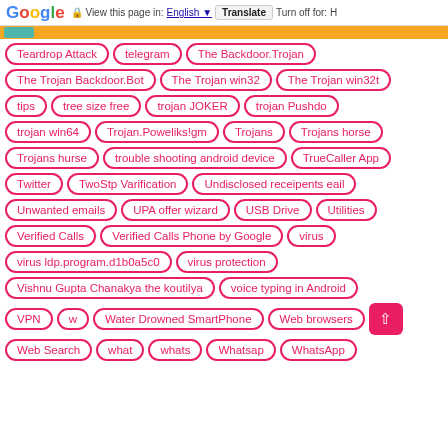Google | View this page in: English | Translate | Turn off for: H
Teardrop Attack
telegram
The Backdoor.Trojan
The Trojan Backdoor.Bot
The Trojan win32
The Trojan win32t
tips
tree size free
trojan JOKER
trojan Pushdo
trojan win64
Trojan.Poweliks!gm
Trojans
Trojans horse
Trojans hurse
trouble shooting android device
TrueCaller App
Twitter
TwoStp Varification
Undisclosed receipents eail
Unwanted emails
UPA offer wizard
USB Drive
Utilities
Verified Calls
Verified Calls Phone by Google
virus
virus ldp.program.d1b0a5c0
virus protection
Vishnu Gupta Chanakya the koutilya
voice typing in Android
VPN
w
Water Drowned SmartPhone
Web browsers
Web Search
what
whats
Whatsap
WhatsApp